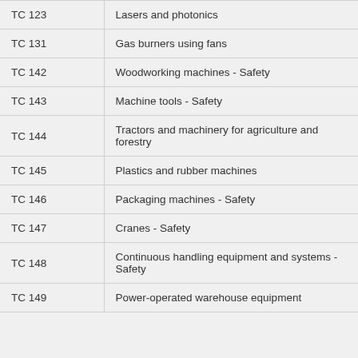| TC 123 | Lasers and photonics |
| TC 131 | Gas burners using fans |
| TC 142 | Woodworking machines - Safety |
| TC 143 | Machine tools - Safety |
| TC 144 | Tractors and machinery for agriculture and forestry |
| TC 145 | Plastics and rubber machines |
| TC 146 | Packaging machines - Safety |
| TC 147 | Cranes - Safety |
| TC 148 | Continuous handling equipment and systems - Safety |
| TC 149 | Power-operated warehouse equipment |